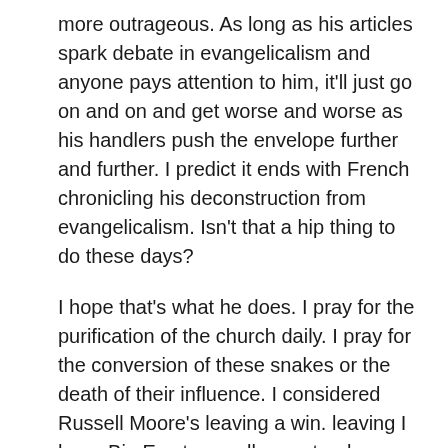more outrageous. As long as his articles spark debate in evangelicalism and anyone pays attention to him, it'll just go on and on and get worse and worse as his handlers push the envelope further and further. I predict it ends with French chronicling his deconstruction from evangelicalism. Isn't that a hip thing to do these days?
I hope that's what he does. I pray for the purification of the church daily. I pray for the conversion of these snakes or the death of their influence. I considered Russell Moore's leaving a win. leaving I hope Big Eva types all repent or leave.
Reply